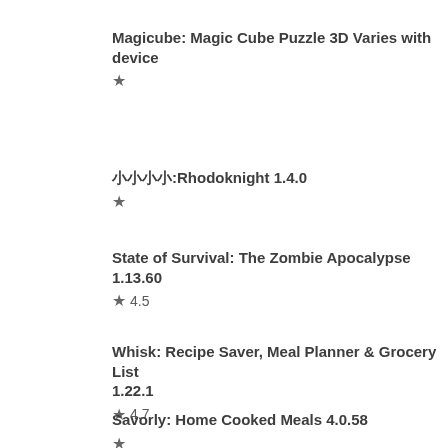Magicube: Magic Cube Puzzle 3D Varies with device ★
🟫🟫🟫🟫:Rhodoknight 1.4.0 ★
State of Survival: The Zombie Apocalypse 1.13.60 ★ 4.5
Whisk: Recipe Saver, Meal Planner & Grocery List 1.22.1 ★ 4.7
Savorly: Home Cooked Meals 4.0.58 ★